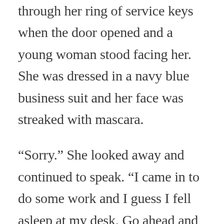through her ring of service keys when the door opened and a young woman stood facing her. She was dressed in a navy blue business suit and her face was streaked with mascara.
“Sorry.” She looked away and continued to speak. “I came in to do some work and I guess I fell asleep at my desk. Go ahead and take the garbage, I’ll just get my things and be out of your way in a second.” The woman tucked in her blouse and buttoned her